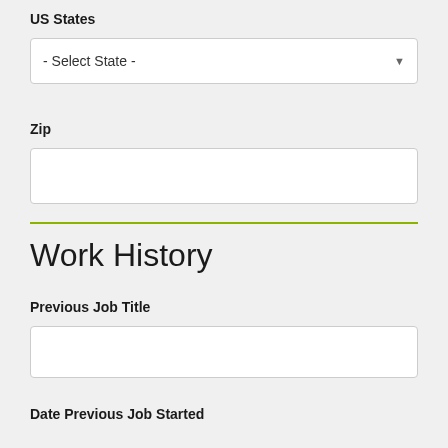US States
[Figure (screenshot): Dropdown select box with placeholder text '- Select State -' and a down arrow icon on the right]
Zip
[Figure (screenshot): Empty text input box for Zip code]
Work History
Previous Job Title
[Figure (screenshot): Empty text input box for Previous Job Title]
Date Previous Job Started